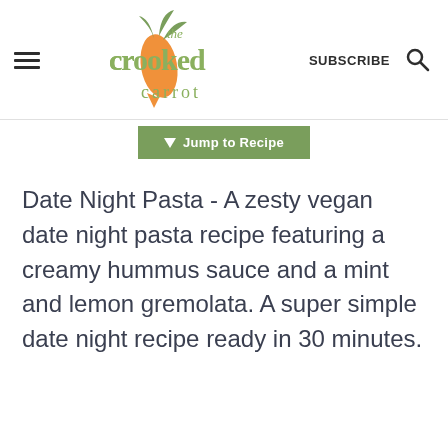the crooked carrot | SUBSCRIBE
[Figure (logo): The Crooked Carrot logo with stylized carrot illustration and text]
Jump to Recipe
Date Night Pasta - A zesty vegan date night pasta recipe featuring a creamy hummus sauce and a mint and lemon gremolata. A super simple date night recipe ready in 30 minutes.